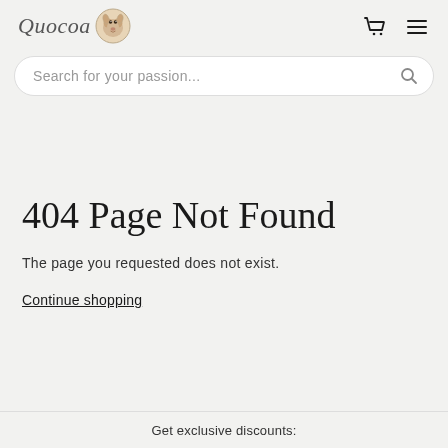Quocoa [logo with quokka icon] [cart icon] [menu icon]
Search for your passion...
404 Page Not Found
The page you requested does not exist.
Continue shopping
Get exclusive discounts: